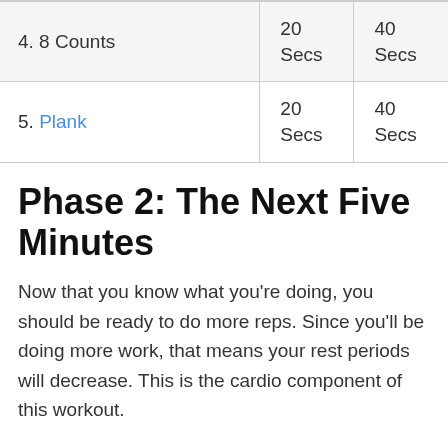| Exercise | Beginner | Advanced |
| --- | --- | --- |
| 4. 8 Counts | 20
Secs | 40
Secs |
| 5. Plank | 20
Secs | 40
Secs |
Phase 2: The Next Five Minutes
Now that you know what you're doing, you should be ready to do more reps. Since you'll be doing more work, that means your rest periods will decrease. This is the cardio component of this workout.
You'll do 30 seconds of work and resting for 30 seconds. Here's a summary of what that looks like